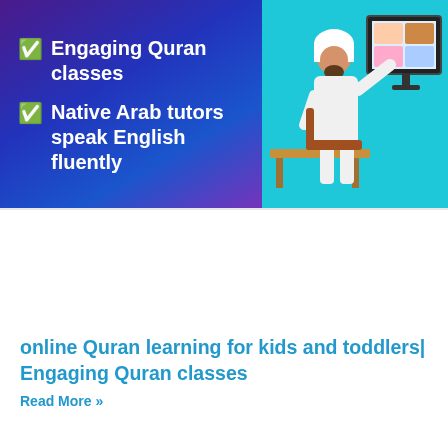[Figure (illustration): Promotional banner for online Quran classes. Left side has a purple/blue gradient background with two checked checkbox items: '✅ Engaging Quran classes' and '✅ Native Arab tutors speak English fluently'. Right side shows a teal/cyan background with an illustration of a male tutor in white robes sitting at a desk gesturing toward a monitor displaying student faces in a video call grid.]
online Quran learning for kids and toddlers| Engaging Quran classes
Read More »